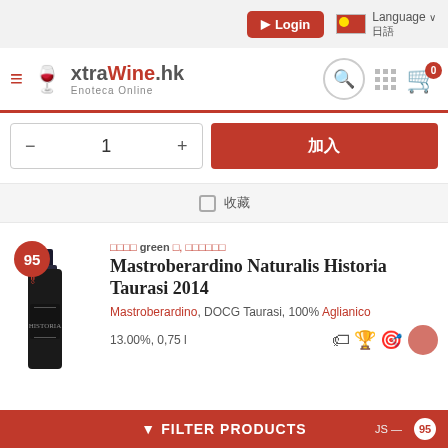Login | Language | xtraWine.hk Enoteca Online
1
加入購物車
□ 收藏
適合 green 飲, 值得購買推薦
Mastroberardino Naturalis Historia Taurasi 2014
Mastroberardino, DOCG Taurasi, 100% Aglianico
13.00%, 0,75 l
FILTER PRODUCTS  JS — 95